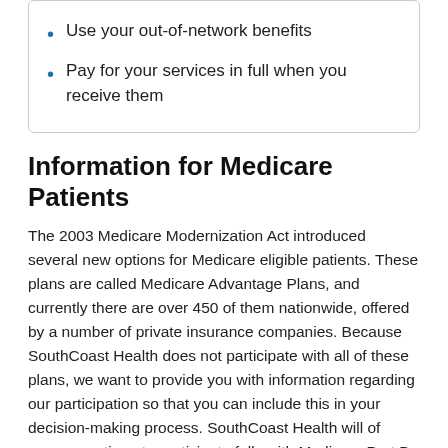Use your out-of-network benefits
Pay for your services in full when you receive them
Information for Medicare Patients
The 2003 Medicare Modernization Act introduced several new options for Medicare eligible patients. These plans are called Medicare Advantage Plans, and currently there are over 450 of them nationwide, offered by a number of private insurance companies. Because SouthCoast Health does not participate with all of these plans, we want to provide you with information regarding our participation so that you can include this in your decision-making process. SouthCoast Health will of course continue to participate fully with Medicare Part B (traditional Medicare).
While SouthCoast Health does not endorse Medicare